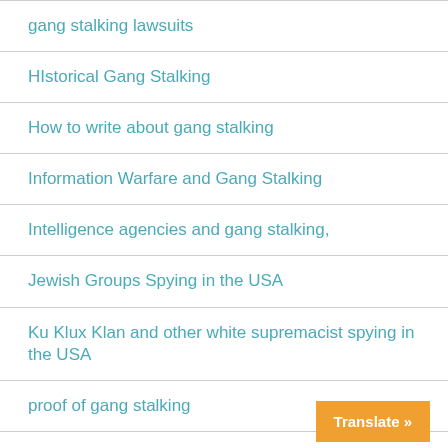gang stalking lawsuits
HIstorical Gang Stalking
How to write about gang stalking
Information Warfare and Gang Stalking
Intelligence agencies and gang stalking,
Jewish Groups Spying in the USA
Ku Klux Klan and other white supremacist spying in the USA
proof of gang stalking
Religion, cults, and gang stalking